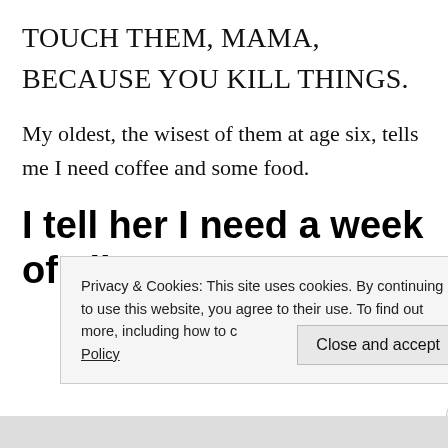TOUCH THEM, MAMA, BECAUSE YOU KILL THINGS.
My oldest, the wisest of them at age six, tells me I need coffee and some food.
I tell her I need a week of silence.
Privacy & Cookies: This site uses cookies. By continuing to use this website, you agree to their use. To find out more, including how to control cookies, see here: Cookie Policy
Close and accept